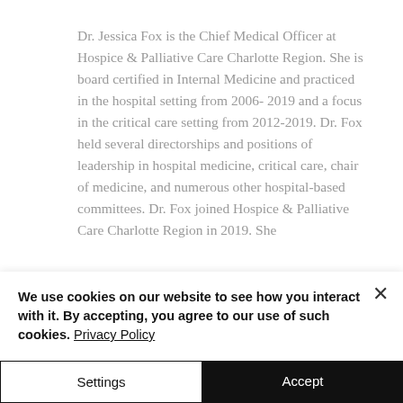Dr. Jessica Fox is the Chief Medical Officer at Hospice & Palliative Care Charlotte Region. She is board certified in Internal Medicine and practiced in the hospital setting from 2006- 2019 and a focus in the critical care setting from 2012-2019. Dr. Fox held several directorships and positions of leadership in hospital medicine, critical care, chair of medicine, and numerous other hospital-based committees. Dr. Fox joined Hospice & Palliative Care Charlotte Region in 2019. She [continues below the fold]...
We use cookies on our website to see how you interact with it. By accepting, you agree to our use of such cookies. Privacy Policy